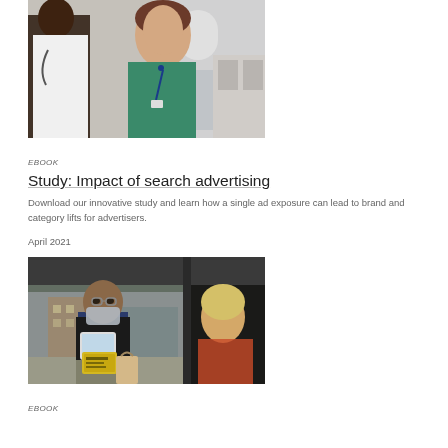[Figure (photo): Medical professional in white coat and nurse in green scrubs in a clinical setting]
EBOOK
Study: Impact of search advertising
Download our innovative study and learn how a single ad exposure can lead to brand and category lifts for advertisers.
April 2021
[Figure (photo): Person in mask and apron holding a tablet at a curbside pickup station, seen from inside a car]
EBOOK